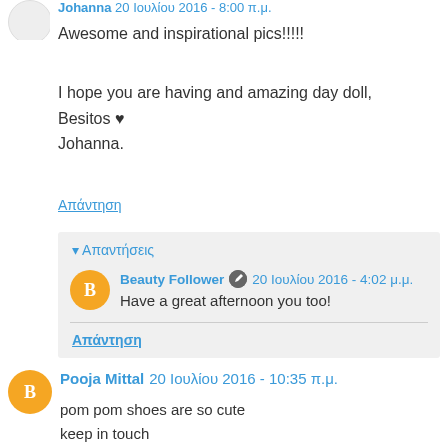Johanna 20 Ιουλίου 2016 - 8:00 π.μ.
Awesome and inspirational pics!!!!!
I hope you are having and amazing day doll,
Besitos ♥
Johanna.
Απάντηση
▾ Απαντήσεις
Beauty Follower 🖊 20 Ιουλίου 2016 - 4:02 μ.μ.
Have a great afternoon you too!
Απάντηση
Pooja Mittal  20 Ιουλίου 2016 - 10:35 π.μ.
pom pom shoes are so cute
keep in touch
www.beingbeautifulandpretty.com
www.indianbeautydiary.com